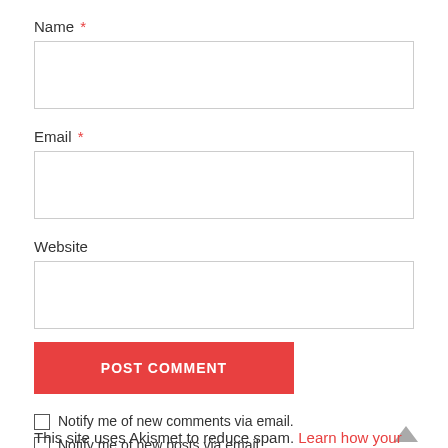Name *
Email *
Website
POST COMMENT
Notify me of new comments via email.
Notify me of new posts via email.
This site uses Akismet to reduce spam. Learn how your